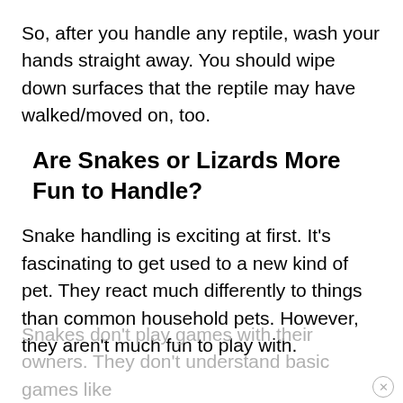So, after you handle any reptile, wash your hands straight away. You should wipe down surfaces that the reptile may have walked/moved on, too.
Are Snakes or Lizards More Fun to Handle?
Snake handling is exciting at first. It’s fascinating to get used to a new kind of pet. They react much differently to things than common household pets. However, they aren’t much fun to play with.
Snakes don’t play games with their owners. They don’t understand basic games like